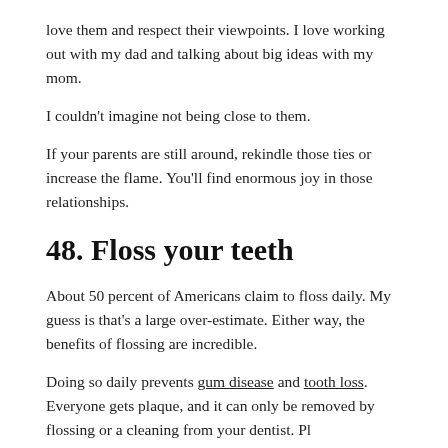love them and respect their viewpoints. I love working out with my dad and talking about big ideas with my mom.
I couldn't imagine not being close to them.
If your parents are still around, rekindle those ties or increase the flame. You'll find enormous joy in those relationships.
48. Floss your teeth
About 50 percent of Americans claim to floss daily. My guess is that's a large over-estimate. Either way, the benefits of flossing are incredible.
Doing so daily prevents gum disease and tooth loss. Everyone gets plaque, and it can only be removed by flossing or a cleaning from your dentist. Pl...